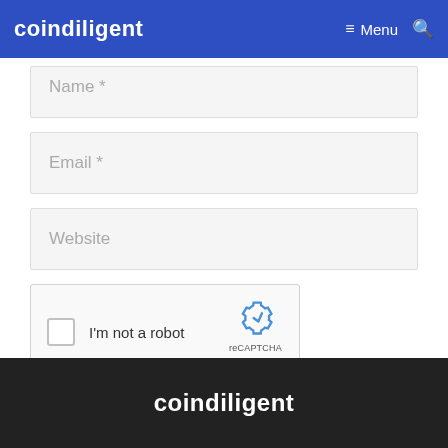coindiligent   Menu   🔍
Name *
Email *
Website
[Figure (screenshot): reCAPTCHA widget with checkbox labeled 'I'm not a robot' and reCAPTCHA logo with Privacy and Terms links]
Post Comment
coindiligent